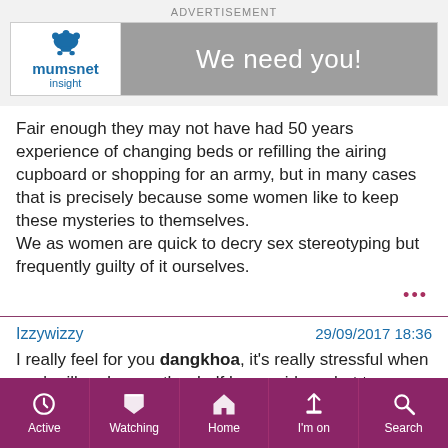[Figure (logo): Mumsnet Insight advertisement banner with logo and 'We need you!' call to action]
Fair enough they may not have had 50 years experience of changing beds or refilling the airing cupboard or shopping for an army, but in many cases that is precisely because some women like to keep these mysteries to themselves.
We as women are quick to decry sex stereotyping but frequently guilty of it ourselves.
Izzywizzy    29/09/2017 18:36
I really feel for you dangkhoa, it's really stressful when you're ill and your other half has no idea what to